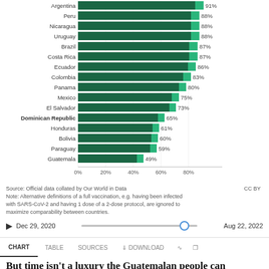[Figure (bar-chart): COVID-19 vaccination rates by country]
Source: Official data collated by Our World in Data   CC BY
Note: Alternative definitions of a full vaccination, e.g. having been infected with SARS-CoV-2 and having 1 dose of a 2-dose protocol, are ignored to maximize comparability between countries.
Dec 29, 2020   Aug 22, 2022
CHART   TABLE   SOURCES   DOWNLOAD
But time isn't a luxury the Guatemalan people can